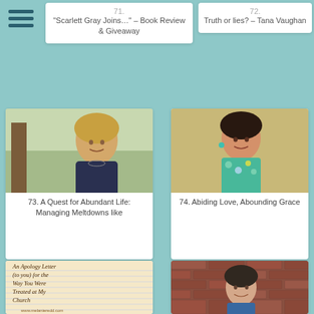[Figure (other): Hamburger menu icon with three horizontal lines]
71. "Scarlett Gray Joins..." – Book Review & Giveaway
72. Truth or lies? – Tana Vaughan
[Figure (photo): Portrait photo of a blonde woman outdoors near a tree]
73. A Quest for Abundant Life: Managing Meltdowns like
[Figure (photo): Portrait photo of a dark-haired woman in a floral top]
74. Abiding Love, Abounding Grace
[Figure (illustration): Apology letter image on lined paper, handwritten-style text reading: An Apology Letter (to you) for the Way You Were Treated at My Church, www.melanieredd.com]
75. Apology Letter for
[Figure (photo): Portrait photo of a young dark-haired woman smiling in front of a brick wall]
76. Searching for Sunday